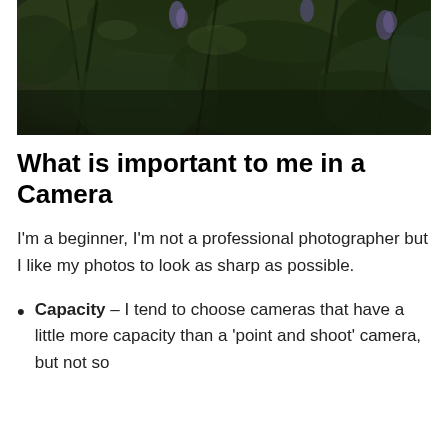[Figure (photo): A dense outdoor nature scene with dark green foliage, branches, and some purple flowers visible among the vegetation. Dark, moody lighting.]
What is important to me in a Camera
I'm a beginner, I'm not a professional photographer but I like my photos to look as sharp as possible.
Capacity – I tend to choose cameras that have a little more capacity than a 'point and shoot' camera, but not so